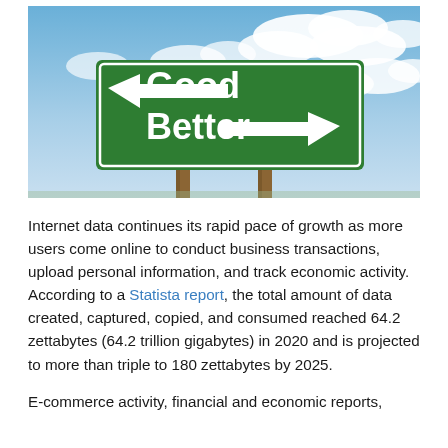[Figure (photo): A green road sign with two arrows: one pointing left labeled 'Good' and one pointing right labeled 'Better', mounted on wooden posts against a cloudy blue sky background.]
Internet data continues its rapid pace of growth as more users come online to conduct business transactions, upload personal information, and track economic activity. According to a Statista report, the total amount of data created, captured, copied, and consumed reached 64.2 zettabytes (64.2 trillion gigabytes) in 2020 and is projected to more than triple to 180 zettabytes by 2025.
E-commerce activity, financial and economic reports,